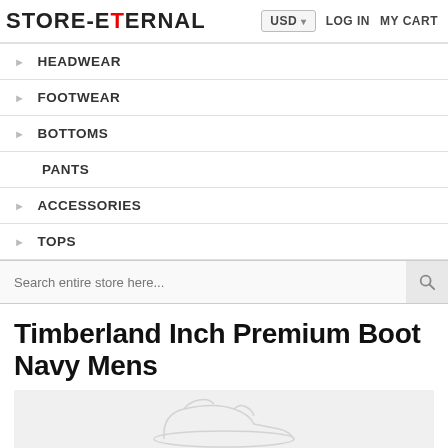STORE-ETERNAL | USD | LOG IN | MY CART
HEADWEAR
FOOTWEAR
BOTTOMS
PANTS
ACCESSORIES
TOPS
Timberland Inch Premium Boot Navy Mens
[Figure (photo): Product image placeholder showing a faint sketch/watermark of a boot on a light gray background]